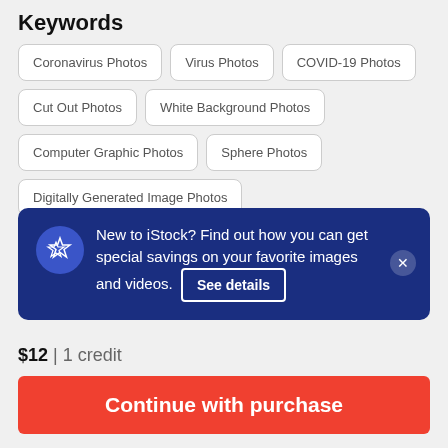Keywords
Coronavirus Photos
Virus Photos
COVID-19 Photos
Cut Out Photos
White Background Photos
Computer Graphic Photos
Sphere Photos
Digitally Generated Image Photos
[Figure (screenshot): iStock promotional popup overlay with dark blue background, star icon, text 'New to iStock? Find out how you can get special savings on your favorite images and videos.' with a 'See details' button and close X button]
Accuracy Photos
$12 | 1 credit
Continue with purchase